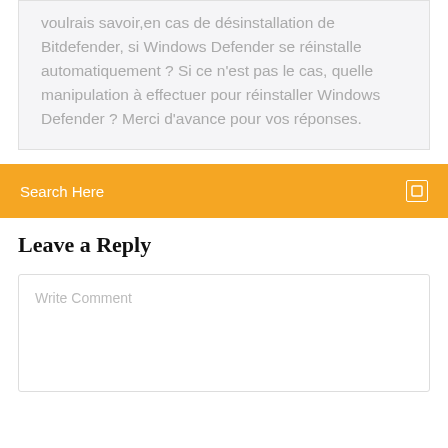voulrais savoir,en cas de désinstallation de Bitdefender, si Windows Defender se réinstalle automatiquement ? Si ce n'est pas le cas, quelle manipulation à effectuer pour réinstaller Windows Defender ? Merci d'avance pour vos réponses.
Search Here
Leave a Reply
Write Comment